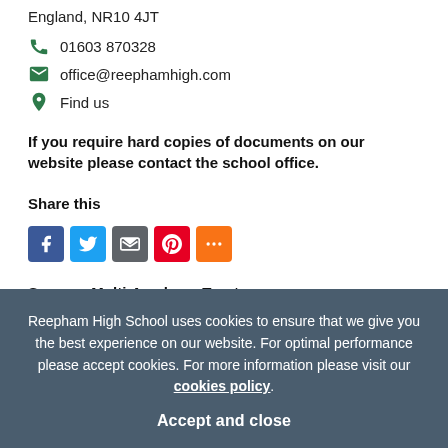England, NR10 4JT
01603 870328
office@reephamhigh.com
Find us
If you require hard copies of documents on our website please contact the school office.
Share this
[Figure (other): Social sharing buttons: Facebook, Twitter, Email/Share, Pinterest, More]
Synergy Multi-Academy Trust
Synergy Multi-Academy Trust comprises fifteen Norfolk schools serving children and young people of 3 to 18. Our school and...
Reepham High School uses cookies to ensure that we give you the best experience on our website. For optimal performance please accept cookies. For more information please visit our cookies policy. Accept and close